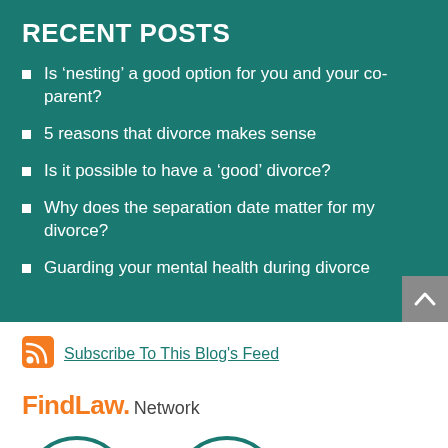RECENT POSTS
Is ‘nesting’ a good option for you and your co-parent?
5 reasons that divorce makes sense
Is it possible to have a ‘good’ divorce?
Why does the separation date matter for my divorce?
Guarding your mental health during divorce
Subscribe To This Blog's Feed
FindLaw. Network
[Figure (illustration): Two partially visible circular logo badges at the bottom of the page]